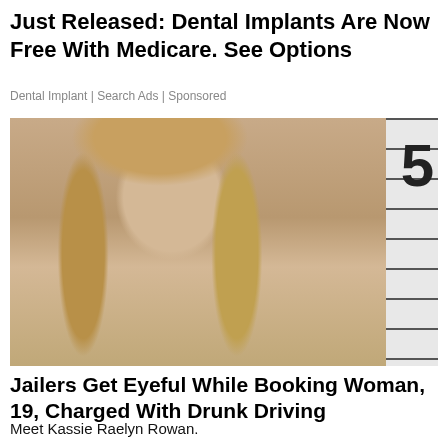Just Released: Dental Implants Are Now Free With Medicare. See Options
Dental Implant | Search Ads | Sponsored
[Figure (photo): Mugshot of a young blonde woman in front of a height ruler backdrop showing the number 5, with horizontal stripe background]
Jailers Get Eyeful While Booking Woman, 19, Charged With Drunk Driving
Meet Kassie Raelyn Rowan.